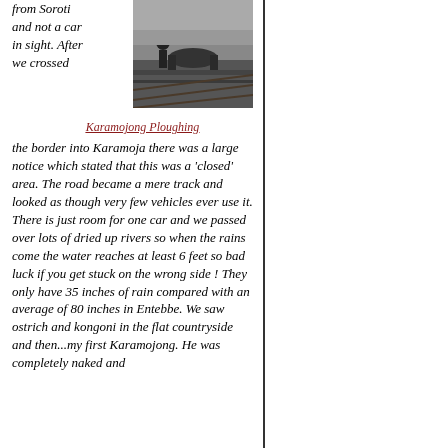from Soroti and not a car in sight. After we crossed
[Figure (photo): Black and white photograph of Karamojong ploughing a field with oxen]
Karamojong Ploughing
the border into Karamoja there was a large notice which stated that this was a 'closed' area. The road became a mere track and looked as though very few vehicles ever use it. There is just room for one car and we passed over lots of dried up rivers so when the rains come the water reaches at least 6 feet so bad luck if you get stuck on the wrong side ! They only have 35 inches of rain compared with an average of 80 inches in Entebbe. We saw ostrich and kongoni in the flat countryside and then...my first Karamojong. He was completely naked and